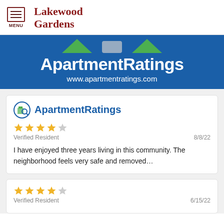Lakewood Gardens — MENU
[Figure (logo): ApartmentRatings banner with logo text and URL www.apartmentratings.com on blue background]
[Figure (logo): ApartmentRatings logo icon (building with magnifying glass)]
ApartmentRatings
Verified Resident — 8/8/22 — I have enjoyed three years living in this community. The neighborhood feels very safe and removed...
Verified Resident — 6/15/22